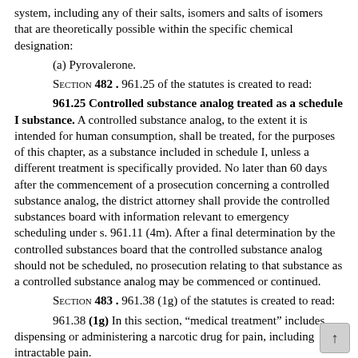system, including any of their salts, isomers and salts of isomers that are theoretically possible within the specific chemical designation:
(a) Pyrovalerone.
Section 482 . 961.25 of the statutes is created to read:
961.25 Controlled substance analog treated as a schedule I substance. A controlled substance analog, to the extent it is intended for human consumption, shall be treated, for the purposes of this chapter, as a substance included in schedule I, unless a different treatment is specifically provided. No later than 60 days after the commencement of a prosecution concerning a controlled substance analog, the district attorney shall provide the controlled substances board with information relevant to emergency scheduling under s. 961.11 (4m). After a final determination by the controlled substances board that the controlled substance analog should not be scheduled, no prosecution relating to that substance as a controlled substance analog may be commenced or continued.
Section 483 . 961.38 (1g) of the statutes is created to read:
961.38 (1g) In this section, “medical treatment” includes dispensing or administering a narcotic drug for pain, including intractable pain.
Section 484 . 961.38 (4g) of the statutes is created to read:
961.38 (4g) A practitioner may dispense or deliver a controlled substance to or for an individual or animal only for medical treatment or authorized research in the ordinary course of